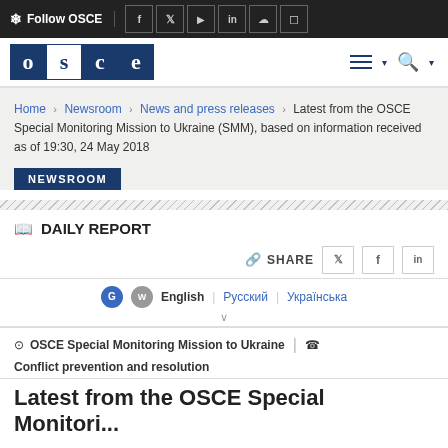Follow OSCE [social icons: f, Twitter, YouTube, LinkedIn, SoundCloud, Instagram]
[Figure (logo): OSCE logo — four letters o, s, c, e in dark blue squares on white background]
Home > Newsroom > News and press releases > Latest from the OSCE Special Monitoring Mission to Ukraine (SMM), based on information received as of 19:30, 24 May 2018
NEWSROOM
DAILY REPORT
SHARE [Twitter] [Facebook] [LinkedIn]
G W  English | Русский | Українська
⊙ OSCE Special Monitoring Mission to Ukraine | ☎ Conflict prevention and resolution
Latest from the OSCE Special Monitori...